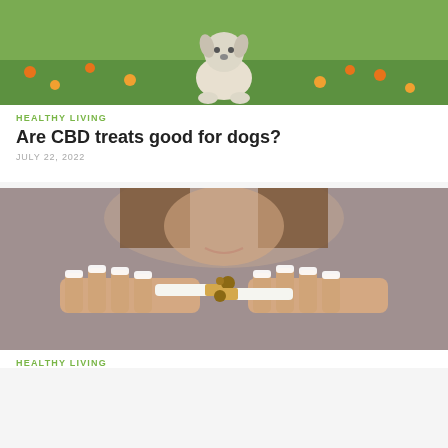[Figure (photo): White puppy sitting on green grass with orange flowers in background]
HEALTHY LIVING
Are CBD treats good for dogs?
JULY 22, 2022
[Figure (photo): Woman with long hair breaking a cigarette in half, close-up of hands with French manicure nails]
HEALTHY LIVING